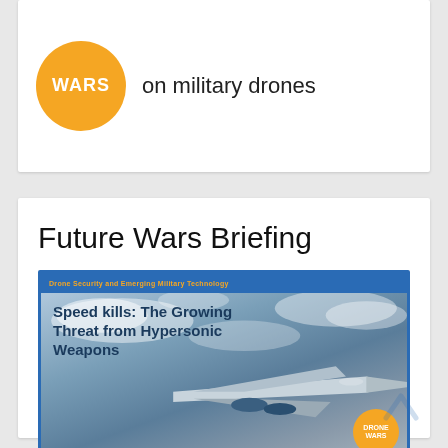[Figure (logo): Drone Wars logo: orange circle with WARS text, next to tagline 'on military drones']
Future Wars Briefing
[Figure (illustration): Article thumbnail with blue header bar reading 'Drone Security and Emerging Military Technology', bold headline 'Speed kills: The Growing Threat from Hypersonic Weapons', background image of a hypersonic aircraft/drone in flight, and Drone Wars orange circle logo in lower right corner]